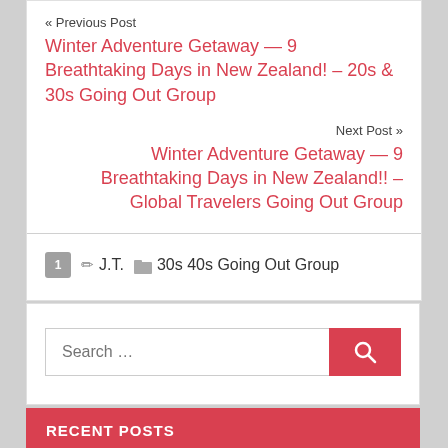« Previous Post
Winter Adventure Getaway — 9 Breathtaking Days in New Zealand! – 20s & 30s Going Out Group
Next Post »
Winter Adventure Getaway — 9 Breathtaking Days in New Zealand!! – Global Travelers Going Out Group
1  ✏ J.T.  📁 30s 40s Going Out Group
Search …
RECENT POSTS